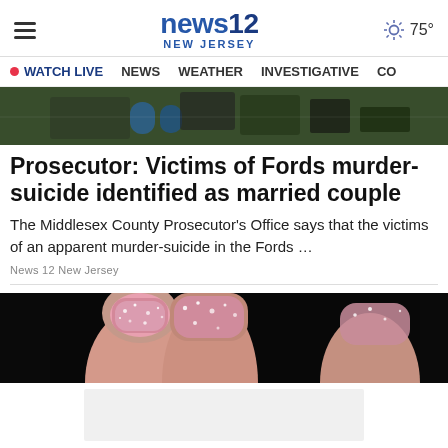news12 NEW JERSEY | ☀ 75°
• WATCH LIVE   NEWS   WEATHER   INVESTIGATIVE   CO
[Figure (photo): Top portion of a news article image showing outdoor equipment/scene with green tones]
Prosecutor: Victims of Fords murder-suicide identified as married couple
The Middlesex County Prosecutor's Office says that the victims of an apparent murder-suicide in the Fords ...
News 12 New Jersey
[Figure (photo): Close-up image of fingers with glittery pink nail polish against a dark background]
[Figure (other): Advertisement placeholder (light gray rectangle)]